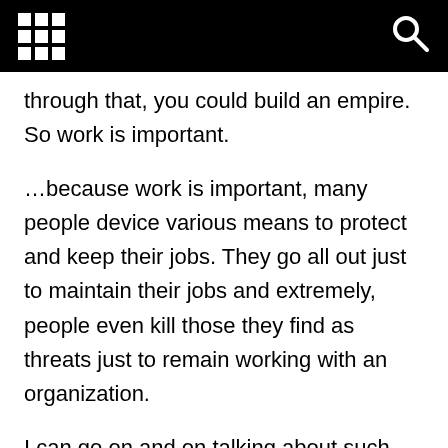through that, you could build an empire. So work is important.
…because work is important, many people device various means to protect and keep their jobs. They go all out just to maintain their jobs and extremely, people even kill those they find as threats just to remain working with an organization.
I can go on and on talking about such diabolical behaviors people ascribe to in order to keep